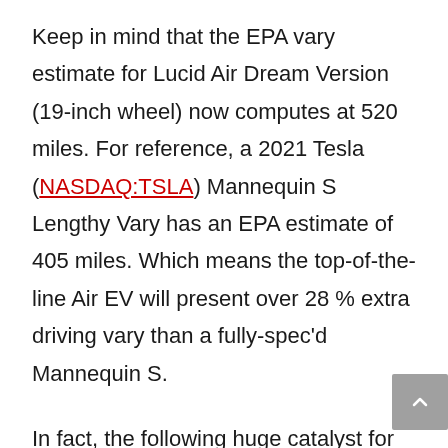Keep in mind that the EPA vary estimate for Lucid Air Dream Version (19-inch wheel) now computes at 520 miles. For reference, a 2021 Tesla (NASDAQ:TSLA) Mannequin S Lengthy Vary has an EPA estimate of 405 miles. Which means the top-of-the-line Air EV will present over 28 % extra driving vary than a fully-spec'd Mannequin S.
In fact, the following huge catalyst for Lucid Group bulls will arrive subsequent week when the corporate is slated to carry a collection of manufacturing preview occasions on the Arizona manufacturing facility.